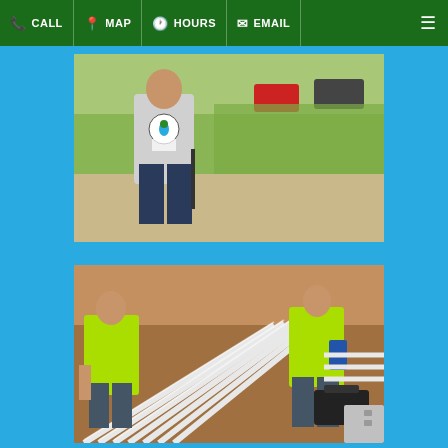CALL | MAP | HOURS | EMAIL | menu
[Figure (photo): A worker wearing a white t-shirt with a company logo (circle with water drop), viewed from behind, standing in an outdoor field with vegetation and cars visible in the background. The worker appears to be holding a tool or stake.]
[Figure (photo): Two workers in yellow high-visibility safety vests working in an excavated trench, laying and arranging multiple white PVC pipes in a parallel formation. A black toolbox is visible on the right side. The ground is sandy/brown dirt.]